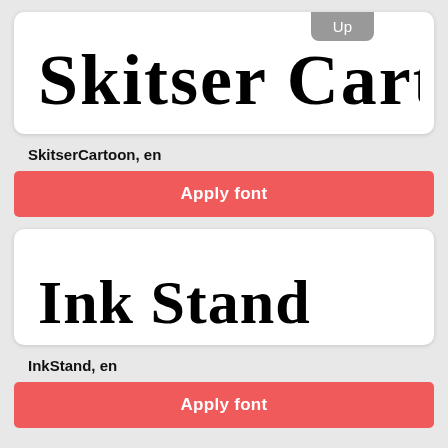[Figure (screenshot): Font preview card for SkitserCartoon showing handwritten-style bold text 'Skitser Cartoon' with an 'Up' badge in the top right corner]
SkitserCartoon, en
Apply font
[Figure (screenshot): Font preview card for InkStand showing handwritten-style bold text 'Ink Stand']
InkStand, en
Apply font